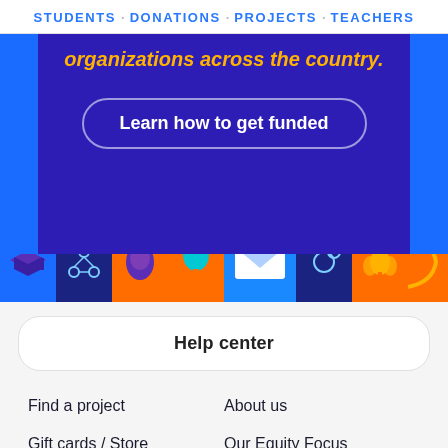STUDENTS · DONATIONS · PROJECTS · TEACHERS
[Figure (illustration): Colorful banner with dark purple/indigo background showing partial text 'organizations across the country.' in orange italic font, a 'Learn how to get funded' button with white rounded border, surrounded by blue frame and colorful icon strip at bottom with education-themed icons on orange, purple, blue backgrounds.]
Help center
Find a project
About us
Gift cards / Store
Our Equity Focus
Partner with us
Join our team